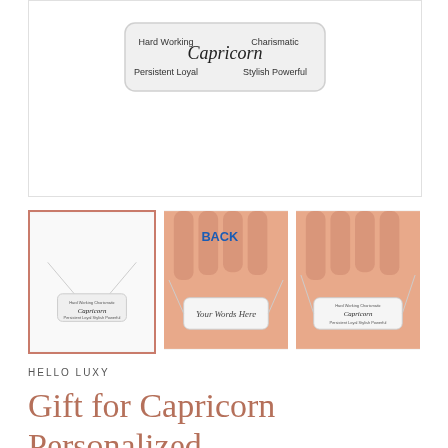[Figure (photo): Main product image showing Capricorn necklace bar pendant with text: Hard Working, Capricorn (in script), Charismatic, Persistent, Loyal, Stylish, Powerful on a white rounded rectangle pendant]
[Figure (photo): Thumbnail 1: Capricorn bar necklace on chain showing front with zodiac traits text]
[Figure (photo): Thumbnail 2: Back of necklace bar held in hand with cursive text 'Your Words Here' personalization area, labeled BACK in blue text]
[Figure (photo): Thumbnail 3: Front of Capricorn necklace bar held in hand showing traits engraved on pendant]
HELLO LUXY
Gift for Capricorn Personalized Necklace